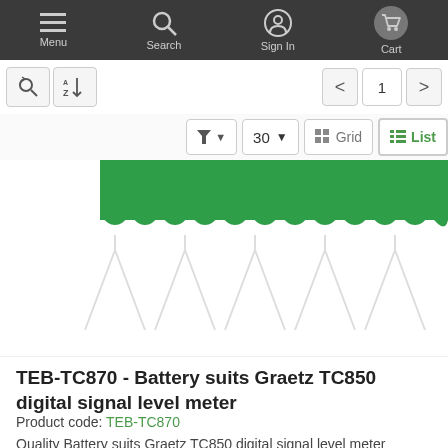Menu | Search | Sign In | Cart
[Figure (screenshot): E-commerce website navigation toolbar with Menu, Search, Sign In, Cart icons, sort/filter controls, pagination (page 1), and Grid/List view toggle showing List selected. Below is a product image of a green battery pack for Graetz TC850 digital signal level meter with watermark arrows.]
TEB-TC870 - Battery suits Graetz TC850 digital signal level meter
Product code: TEB-TC870
Quality Battery suits Graetz TC850 digital signal level meter Batteries will leave our store within ...